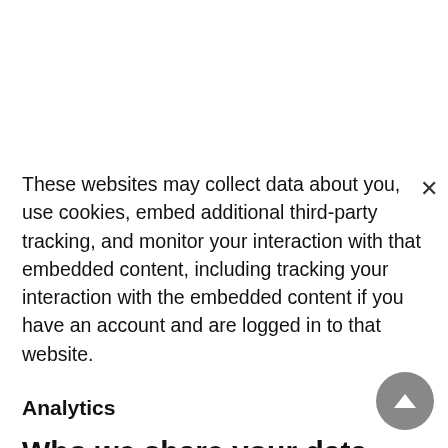These websites may collect data about you, use cookies, embed additional third-party tracking, and monitor your interaction with that embedded content, including tracking your interaction with the embedded content if you have an account and are logged in to that website.
Analytics
Who we share your data with
How long we retain your data